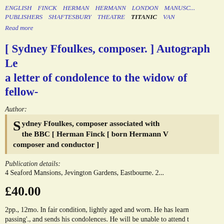ENGLISH FINCK HERMAN HERMANN LONDON MANUSC... PUBLISHERS SHAFTESBURY THEATRE TITANIC VAN
Read more
[ Sydney Ffoulkes, composer. ] Autograph Le... a letter of condolence to the widow of fellow-...
Author:
Sydney Ffoulkes, composer associated with... the BBC [ Herman Finck [ born Hermann V... composer and conductor ]
Publication details:
4 Seaford Mansions, Jevington Gardens, Eastbourne. 2...
£40.00
2pp., 12mo. In fair condition, lightly aged and worn. He has learn... passing'., and sends his condolences. He will be unable to attend... f...t...l... H...h... 'H... t f ll...